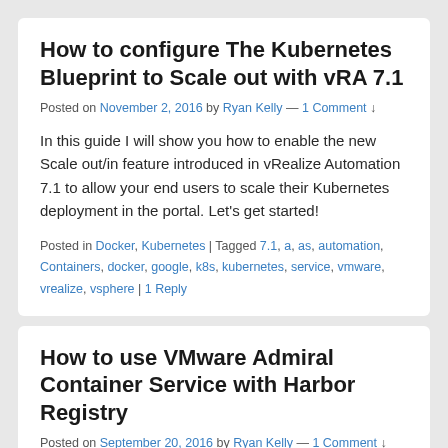How to configure The Kubernetes Blueprint to Scale out with vRA 7.1
Posted on November 2, 2016 by Ryan Kelly — 1 Comment ↓
In this guide I will show you how to enable the new Scale out/in feature introduced in vRealize Automation 7.1 to allow your end users to scale their Kubernetes deployment in the portal. Let's get started!
Posted in Docker, Kubernetes | Tagged 7.1, a, as, automation, Containers, docker, google, k8s, kubernetes, service, vmware, vrealize, vsphere | 1 Reply
How to use VMware Admiral Container Service with Harbor Registry
Posted on September 20, 2016 by Ryan Kelly — 1 Comment ↓
Ok, so you figured out how to get Admiral and Harbor...